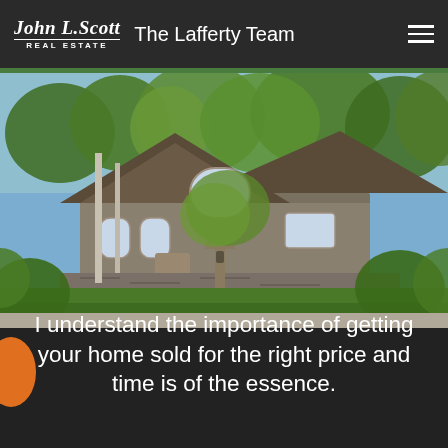John L. Scott REAL ESTATE — The Lafferty Team
[Figure (photo): Exterior photo of a large craftsman-style home with brown siding, arched windows, a stone wall, decorative wooden post with lantern, and lush green trees and landscaping in the foreground.]
I understand the importance of getting your home sold for the right price and time is of the essence.